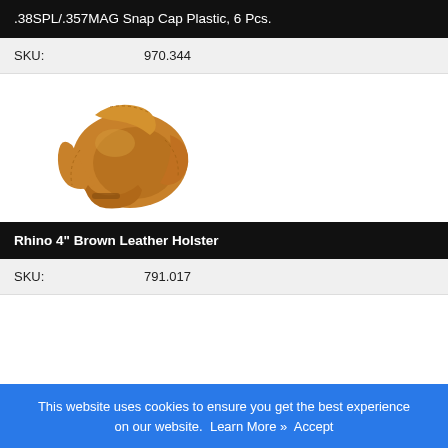.38SPL/.357MAG Snap Cap Plastic, 6 Pcs.
| SKU: | 970.344 |
| --- | --- |
[Figure (photo): Brown leather OWB holster for a revolver, tan color with stitching detail]
Rhino 4" Brown Leather Holster
| SKU: | 791.017 |
| --- | --- |
This website uses cookies to ensure you get the best experience on our website.  Learn More »  Accept